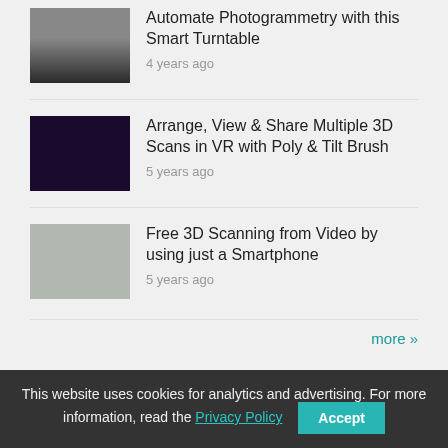Automate Photogrammetry with this Smart Turntable
4 years ago
Arrange, View & Share Multiple 3D Scans in VR with Poly & Tilt Brush
5 years ago
Free 3D Scanning from Video by using just a Smartphone
5 years ago
more »
INSPIRATION
2018 3D Scanning & Photogrammetry Holiday Gift Guide
November 13, 2018
This website uses cookies for analytics and advertising. For more information, read the Privacy Policy  Accept